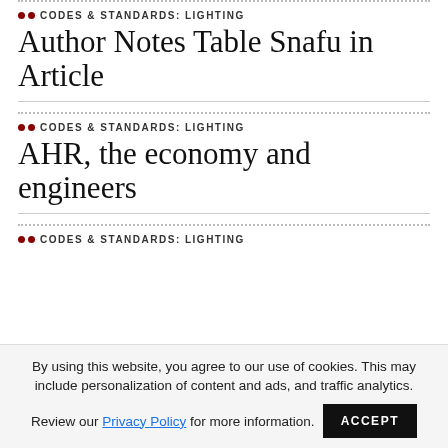CODES & STANDARDS: LIGHTING
Author Notes Table Snafu in Article
CODES & STANDARDS: LIGHTING
AHR, the economy and engineers
CODES & STANDARDS: LIGHTING
By using this website, you agree to our use of cookies. This may include personalization of content and ads, and traffic analytics. Review our Privacy Policy for more information.